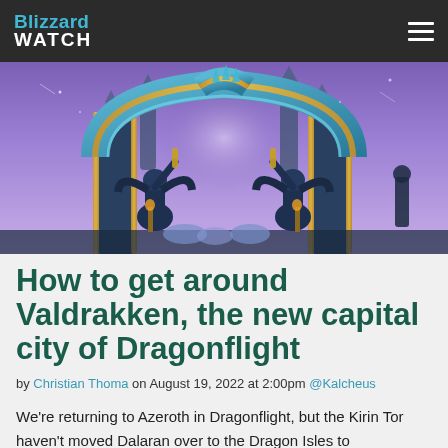Blizzard WATCH
[Figure (screenshot): Screenshot from World of Warcraft Dragonflight showing a fantasy city scene with purple sky, ornate blue and gold arcane architecture gate, and dragon-themed statues or figures flanking a grand entrance.]
How to get around Valdrakken, the new capital city of Dragonflight
by Christian Thoma on August 19, 2022 at 2:00pm @Kalcheus
We're returning to Azeroth in Dragonflight, but the Kirin Tor haven't moved Dalaran over to the Dragon Isles to